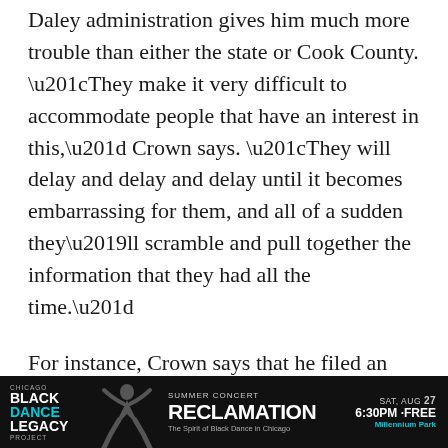Daley administration gives him much more trouble than either the state or Cook County. “They make it very difficult to accommodate people that have an interest in this,” Crown says. “They will delay and delay and delay until it becomes embarrassing for them, and all of a sudden they’ll scramble and pull together the information that they had all the time.”
For instance, Crown says that he filed an FOI request with the city last January 3 looking for the amount of money the city was spending on outside legal counsel in a 1992 ward remap suit. Under FOI law, the city has seven working days to respond to a request, either by providing the information or with a letter saying the
[Figure (other): Advertisement banner: Chicago Black Dance Legacy Project - Summer Concert: RECLAMATION - The Spirit of Black Dance in Chicago - SAT, AUG 27, 6:30PM FREE, Millennium Park]